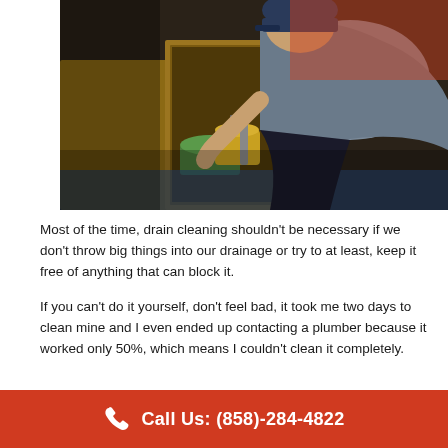[Figure (photo): A plumber or handyman crouching down and working inside a kitchen cabinet under a sink, with tools and items visible inside the wooden cabinet]
Most of the time, drain cleaning shouldn't be necessary if we don't throw big things into our drainage or try to at least, keep it free of anything that can block it.
If you can't do it yourself, don't feel bad, it took me two days to clean mine and I even ended up contacting a plumber because it worked only 50%, which means I couldn't clean it completely.
Call Us: (858)-284-4822